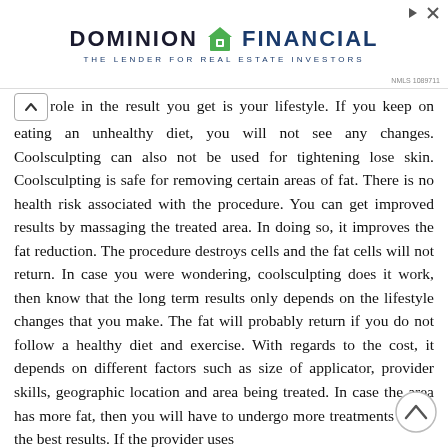[Figure (logo): Dominion Financial - The Lender for Real Estate Investors logo with green house icon]
role in the result you get is your lifestyle. If you keep on eating an unhealthy diet, you will not see any changes. Coolsculpting can also not be used for tightening lose skin. Coolsculpting is safe for removing certain areas of fat. There is no health risk associated with the procedure. You can get improved results by massaging the treated area. In doing so, it improves the fat reduction. The procedure destroys cells and the fat cells will not return. In case you were wondering, coolsculpting does it work, then know that the long term results only depends on the lifestyle changes that you make. The fat will probably return if you do not follow a healthy diet and exercise. With regards to the cost, it depends on different factors such as size of applicator, provider skills, geographic location and area being treated. In case the area has more fat, then you will have to undergo more treatments to get the best results. If the provider uses
the small applicator, then you should be prepared to